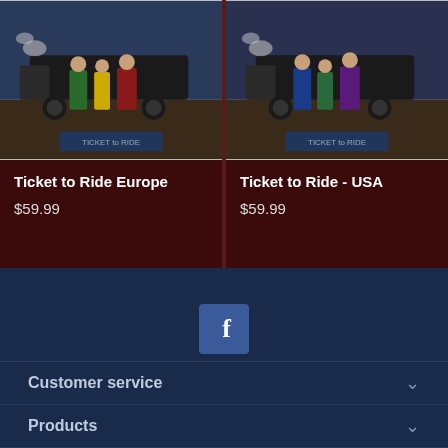[Figure (photo): Ticket to Ride Europe board game box art showing characters near a train]
Ticket to Ride Europe
$59.99
[Figure (photo): Ticket to Ride USA board game box art showing characters near a train]
Ticket to Ride - USA
$59.99
[Figure (logo): Facebook logo icon (white F on blue background)]
Customer service
Products